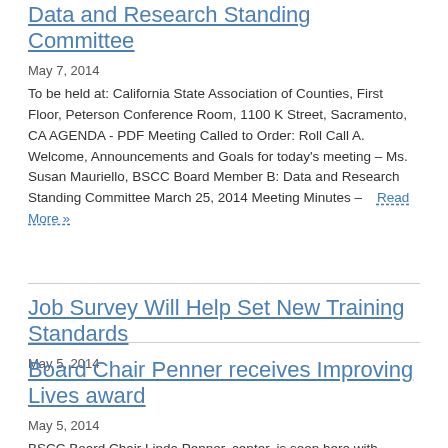Data and Research Standing Committee
May 7, 2014
To be held at: California State Association of Counties, First Floor, Peterson Conference Room, 1100 K Street, Sacramento, CA AGENDA - PDF Meeting Called to Order: Roll Call A. Welcome, Announcements and Goals for today's meeting – Ms. Susan Mauriello, BSCC Board Member B: Data and Research Standing Committee March 25, 2014 Meeting Minutes –    Read More »
Job Survey Will Help Set New Training Standards
May 5, 2014
Board Chair Penner receives Improving Lives award
May 5, 2014
BSCC Board Chair Linda Penner, center, is seen here with Kathryn Wage and Kim Bond of the nonprofit agency Mental Health Systems after